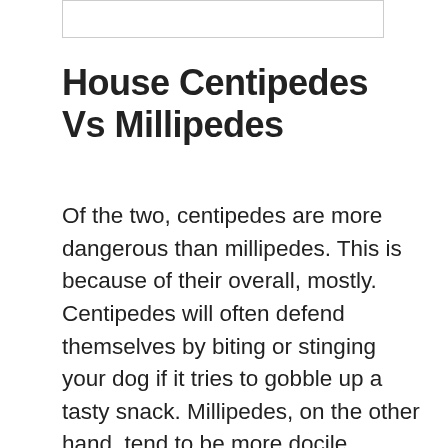[Figure (other): A rectangular image placeholder or image bar at the top of the page]
House Centipedes Vs Millipedes
Of the two, centipedes are more dangerous than millipedes. This is because of their overall, mostly. Centipedes will often defend themselves by biting or stinging your dog if it tries to gobble up a tasty snack. Millipedes, on the other hand, tend to be more docile. Instead of attacking, they'll release their defense spray and then curl up in a tiny ball and try to disappear.